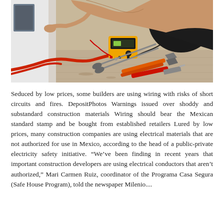[Figure (photo): Close-up photo of a person's hands working near a wall outlet, with electrical tools scattered on the floor including a yellow multimeter, orange-handled pliers, scissors, and a screwdriver, along with a red wire and a black plastic bag in the background.]
Seduced by low prices, some builders are using wiring with risks of short circuits and fires. DepositPhotos Warnings issued over shoddy and substandard construction materials Wiring should bear the Mexican standard stamp and be bought from established retailers Lured by low prices, many construction companies are using electrical materials that are not authorized for use in Mexico, according to the head of a public-private electricity safety initiative. “We’ve been finding in recent years that important construction developers are using electrical conductors that aren’t authorized,” Mari Carmen Ruiz, coordinator of the Programa Casa Segura (Safe House Program), told the newspaper Milenio....
Leer más →